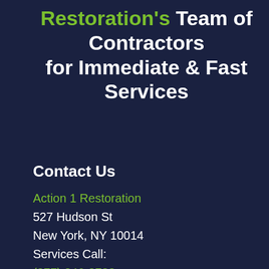Restoration's Team of Contractors for Immediate & Fast Services
Contact Us
Action 1 Restoration
527 Hudson St
New York, NY 10014
Services Call:
(877) 246-8788
Corporate Office
(877) 801-0604